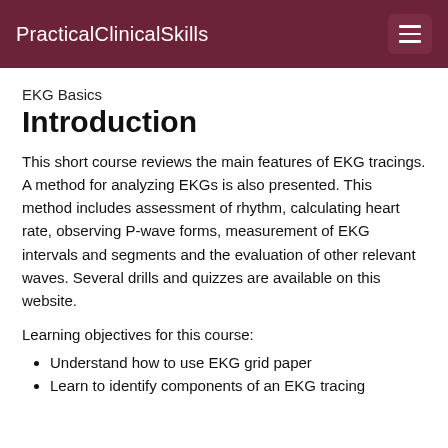PracticalClinicalSkills
EKG Basics
Introduction
This short course reviews the main features of EKG tracings. A method for analyzing EKGs is also presented. This method includes assessment of rhythm, calculating heart rate, observing P-wave forms, measurement of EKG intervals and segments and the evaluation of other relevant waves. Several drills and quizzes are available on this website.
Learning objectives for this course:
Understand how to use EKG grid paper
Learn to identify components of an EKG tracing